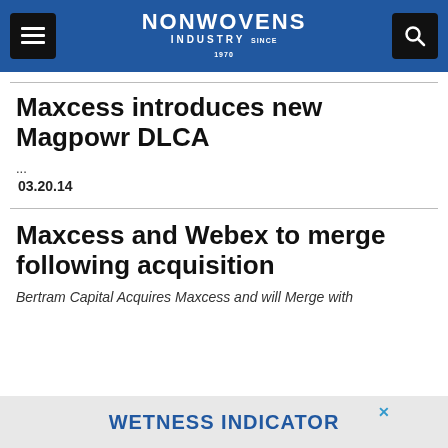NONWOVENS INDUSTRY
Maxcess introduces new Magpowr DLCA
...
03.20.14
Maxcess and Webex to merge following acquisition
Bertram Capital Acquires Maxcess and will Merge with
WETNESS INDICATOR